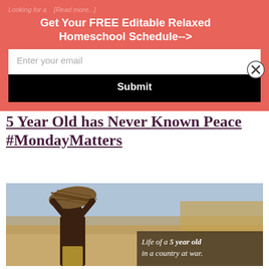Looking for a... [Read more...]
Get Your FREE Editable Relaxed Homeschool Schedule-->
Enter your email
Submit
5 Year Old has Never Known Peace #MondayMatters
[Figure (photo): A young child carrying a large bundle of sticks on their head in a dry, rural landscape. A semi-transparent dark text overlay in the bottom right reads: 'Life of a 5 year old in a country at war.']